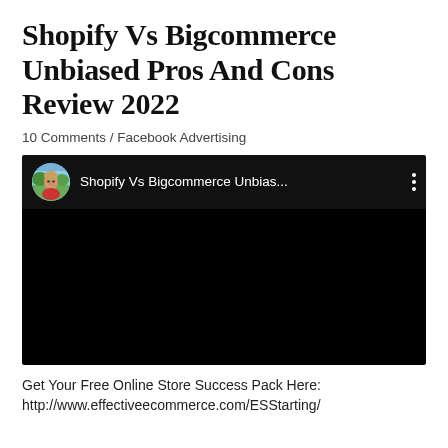Shopify Vs Bigcommerce Unbiased Pros And Cons Review 2022
10 Comments / Facebook Advertising
[Figure (screenshot): Embedded YouTube video player showing 'Shopify Vs Bigcommerce Unbias...' with a circular avatar thumbnail of a man on the left, video title text, and three-dot menu icon on a dark background. The main video area is entirely black.]
Get Your Free Online Store Success Pack Here: http://www.effectiveecommerce.com/ESStarting/